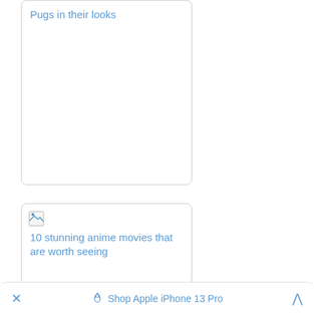Pugs in their looks
[Figure (screenshot): A browser/app screenshot showing a card with a broken image placeholder and article title '10 stunning anime movies that are worth seeing']
10 stunning anime movies that are worth seeing
× Shop Apple iPhone 13 Pro ^